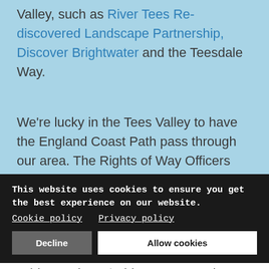Valley, such as River Tees Re-discovered Landscape Partnership, Discover Brightwater and the Teesdale Way.
We're lucky in the Tees Valley to have the England Coast Path pass through our area. The Rights of Way Officers from Hartlepool, Middlesbrough and Stockton-On-Tees have been working in partnership with Natural England to successfully open our stretch of the England Coast Path. The stretch between North Gare and Sunderland was the newest section to be completed is between Newport Bridge and Nort... this was op...ed September 2019. Though this is a relatively small section to be opened it is the final link which will
This website uses cookies to ensure you get the best experience on our website. Cookie policy   Privacy policy